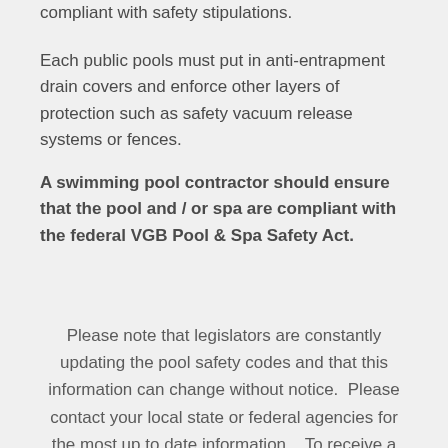compliant with safety stipulations.
Each public pools must put in anti-entrapment drain covers and enforce other layers of protection such as safety vacuum release systems or fences.
A swimming pool contractor should ensure that the pool and / or spa are compliant with the federal VGB Pool & Spa Safety Act.
Please note that legislators are constantly updating the pool safety codes and that this information can change without notice.  Please contact your local state or federal agencies for the most up to date information.   To receive a free estimate for a swimming pool fence in your area, please contact Aquaguard Pool Fences.